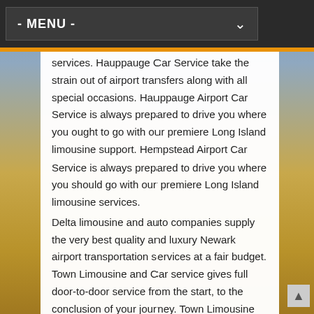- MENU -
services. Hauppauge Car Service take the strain out of airport transfers along with all special occasions. Hauppauge Airport Car Service is always prepared to drive you where you ought to go with our premiere Long Island limousine support. Hempstead Airport Car Service is always prepared to drive you where you should go with our premiere Long Island limousine services.
Delta limousine and auto companies supply the very best quality and luxury Newark airport transportation services at a fair budget. Town Limousine and Car service gives full door-to-door service from the start, to the conclusion of your journey. Town Limousine and Car service'S drivers are the best found in the business and they’re fully conscious of the significant nature of meeting your trip schedule. Town Limousine and Car Service'S drivers are the best found in the business and they’re fully conscious of the severe nature of meeting your trip schedule. Our fast dispatch times guarantees that you will get